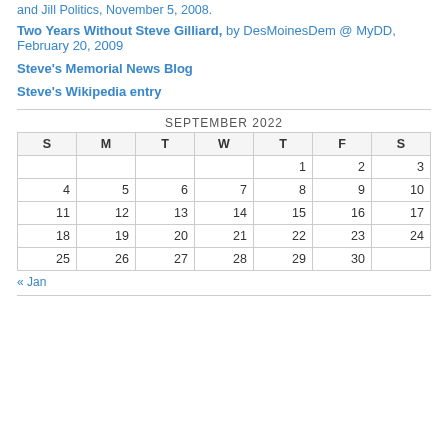and Jill Politics, November 5, 2008.
Two Years Without Steve Gilliard, by DesMoinesDem @ MyDD, February 20, 2009
Steve's Memorial News Blog
Steve's Wikipedia entry
| S | M | T | W | T | F | S |
| --- | --- | --- | --- | --- | --- | --- |
|  |  |  |  | 1 | 2 | 3 |
| 4 | 5 | 6 | 7 | 8 | 9 | 10 |
| 11 | 12 | 13 | 14 | 15 | 16 | 17 |
| 18 | 19 | 20 | 21 | 22 | 23 | 24 |
| 25 | 26 | 27 | 28 | 29 | 30 |  |
« Jan